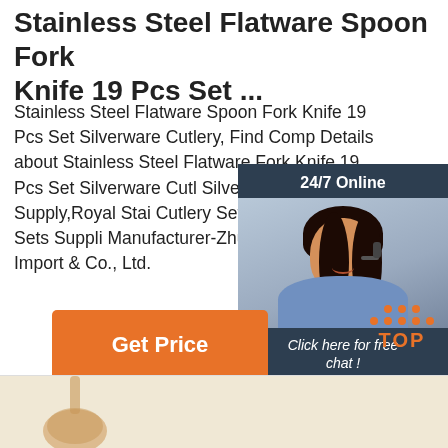Stainless Steel Flatware Spoon Fork Knife 19 Pcs Set ...
Stainless Steel Flatware Spoon Fork Knife 19 Pcs Set Silverware Cutlery, Find Complete Details about Stainless Steel Flatware Spoon Fork Knife 19 Pcs Set Silverware Cutlery,Silver Cutlery,Hotel Supply,Royal Stainless Cutlery Set from Flatware Sets Supplier or Manufacturer-Zhuhai Laicozy Import & Co., Ltd.
[Figure (photo): Customer service representative widget showing a woman with headset, dark background with '24/7 Online' header, 'Click here for free chat!' text, and orange QUOTATION button]
[Figure (other): Orange 'Get Price' button]
[Figure (other): Orange 'TOP' button with dot pattern above]
[Figure (photo): Partial view of flatware/cutlery on beige/cream background at bottom of page]